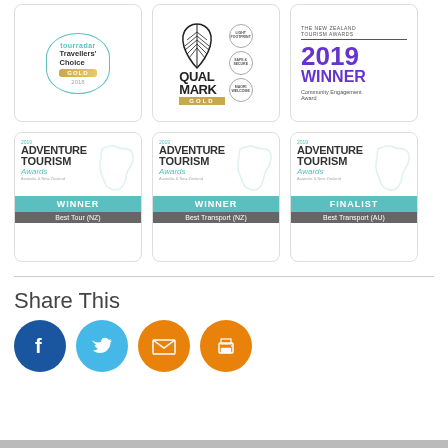[Figure (illustration): TourRadar Travellers Choice Gold 2018 award badge]
[Figure (illustration): Qualmark Gold certification badge with Light Footprint, Safe & Secure, Maori Welcome icons]
[Figure (illustration): The New Zealand Tourism Awards 2019 Winner Community Engagement Award]
[Figure (illustration): 2019 Adventure Tourism Awards Winner Best Tour (NZ)]
[Figure (illustration): 2019 Adventure Tourism Awards Winner Best Transport (NZ)]
[Figure (illustration): 2019 Adventure Tourism Awards Finalist Best Transport (AU)]
Share This
[Figure (illustration): Social share icons: Facebook, Twitter, Email, Print]